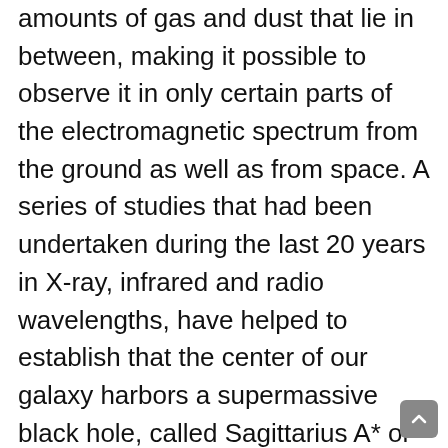amounts of gas and dust that lie in between, making it possible to observe it in only certain parts of the electromagnetic spectrum from the ground as well as from space. A series of studies that had been undertaken during the last 20 years in X-ray, infrared and radio wavelengths, have helped to establish that the center of our galaxy harbors a supermassive black hole, called Sagittarius A* or Sgr A* for short, with a mass of approximately 4 million times that of the Sun. The surroundings of Sgr A* out to a few light years, have been found to be a quite complex place, one that features thousands of old, red giant stars as well as many other specimens of the cosmic zoo, like, supernova remnants, neuron stars and vast amounts of molecular gas, that orbit the behemoth black hole